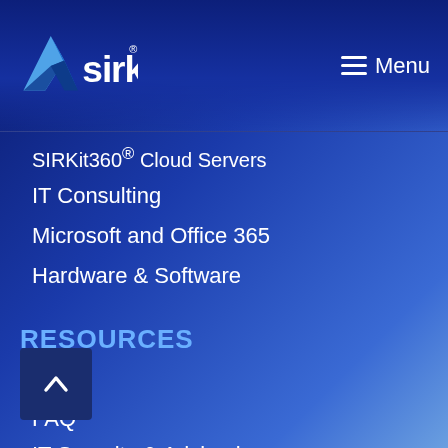[Figure (logo): SIRKit logo with triangular icon and white text 'sirkit' with registered trademark symbol]
≡ Menu
SIRKit360® Cloud Servers
IT Consulting
Microsoft and Office 365
Hardware & Software
RESOURCES
Blog
FAQ
IT Security & Advisories
Pro Tips